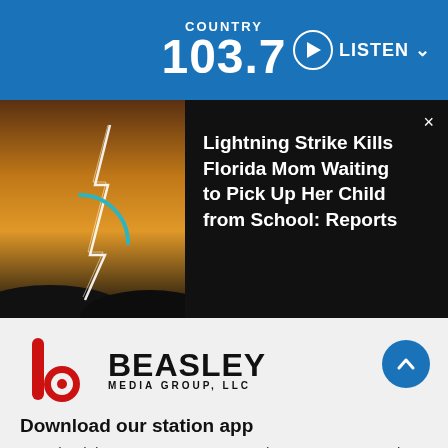COUNTRY 103.7 — LISTEN
[Figure (screenshot): News article thumbnail: lightning strike photo with dark stormy sky and orange glow, with a teal loading/spinner arc overlay]
Lightning Strike Kills Florida Mom Waiting to Pick Up Her Child from School: Reports
[Figure (logo): Beasley Media Group, LLC logo — red stylized 'b' icon with black BEASLEY wordmark and 'MEDIA GROUP, LLC' subtitle]
Download our station app
Download the app to LISTEN LIVE wherever you are and connect with us like never before!
[Figure (logo): Download on the App Store button — black rounded rectangle with Apple logo and 'Download on the App Store' text]